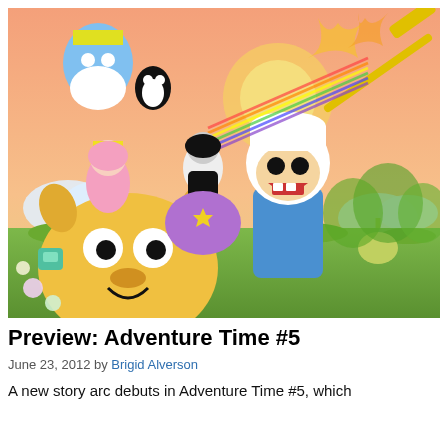[Figure (illustration): Colorful cartoon illustration of Adventure Time characters including Finn, Jake, Marceline, Princess Bubblegum, Ice King, Lumpy Space Princess, and many others in a group scene with a pink/orange sky background.]
Preview: Adventure Time #5
June 23, 2012 by Brigid Alverson
A new story arc debuts in Adventure Time #5, which